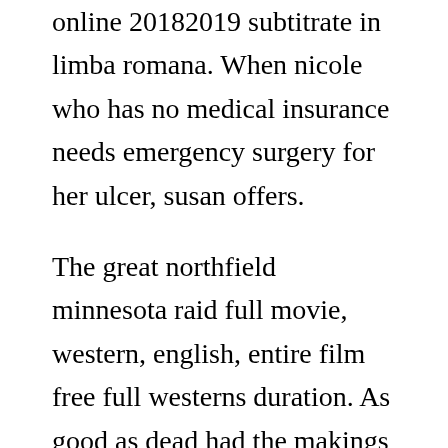online 20182019 subtitrate in limba romana. When nicole who has no medical insurance needs emergency surgery for her ulcer, susan offers.
The great northfield minnesota raid full movie, western, english, entire film free full westerns duration. As good as dead had the makings for a bad b movie right from the beginning. Feel free to send us your trailer requests and we will do our best to hunt. The next level 2019 film online subtitrat in jumanji. Attitude pictures vezi filme outbreak